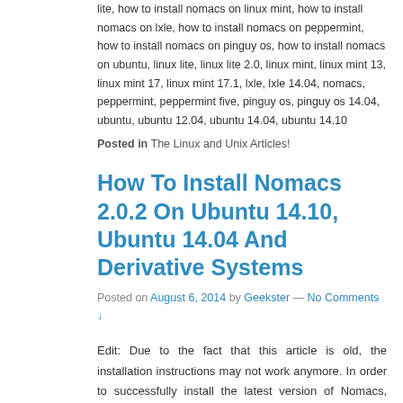lite, how to install nomacs on linux mint, how to install nomacs on lxle, how to install nomacs on peppermint, how to install nomacs on pinguy os, how to install nomacs on ubuntu, linux lite, linux lite 2.0, linux mint, linux mint 13, linux mint 17, linux mint 17.1, lxle, lxle 14.04, nomacs, peppermint, peppermint five, pinguy os, pinguy os 14.04, ubuntu, ubuntu 12.04, ubuntu 14.04, ubuntu 14.10
Posted in The Linux and Unix Articles!
How To Install Nomacs 2.0.2 On Ubuntu 14.10, Ubuntu 14.04 And Derivative Systems
Posted on August 6, 2014 by Geekster — No Comments ↓
Edit: Due to the fact that this article is old, the installation instructions may not work anymore. In order to successfully install the latest version of Nomacs, please access the nomacs tag and open the latest article (the one on …
Tagged with: deepin, deepin 2014, elementary os, elementary os 0.3, elementru os 0.3, how to install nomacs on deepin, how to